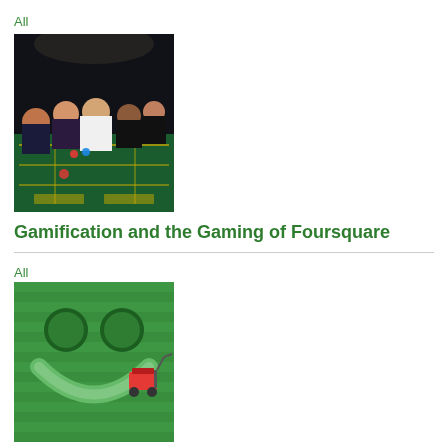All
[Figure (photo): People at a casino craps table, dark lighting, green felt table with markings]
Gamification and the Gaming of Foursquare
All
[Figure (photo): Aerial view of a lawn mower creating a smiley face pattern in grass, with two round green bushes as eyes]